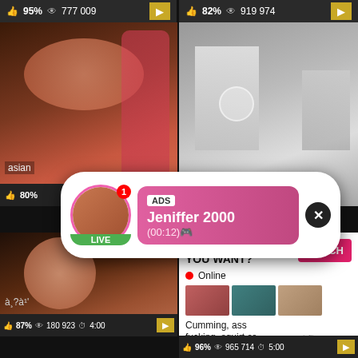[Figure (screenshot): Adult video website screenshot showing a grid of video thumbnails with statistics, overlaid advertisements including a live cam notification and a 'What Do You Want?' ad panel]
95% | 777 009
82% | 919 974
asian | 80%
ADS Jeniffer 2000 (00:12) LIVE
WHAT DO YOU WANT? WATCH Online Cumming, ass fucking, squirt or... • ADS
87% | 180 923 | 4:00
96% | 965 714 | 5:00